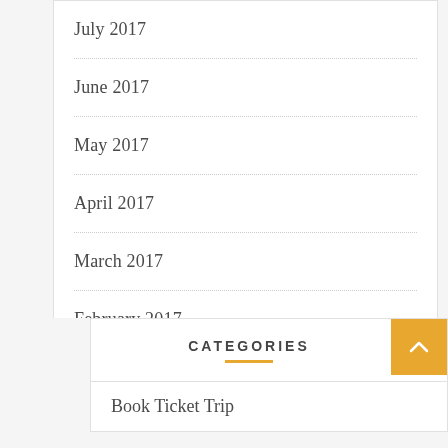July 2017
June 2017
May 2017
April 2017
March 2017
February 2017
January 2017
CATEGORIES
Book Ticket Trip